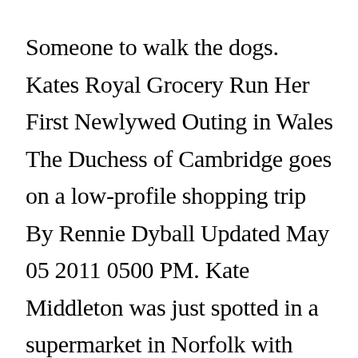Someone to walk the dogs. Kates Royal Grocery Run Her First Newlywed Outing in Wales The Duchess of Cambridge goes on a low-profile shopping trip By Rennie Dyball Updated May 05 2011 0500 PM. Kate Middleton was just spotted in a supermarket in Norfolk with Prince George Princess Charlotte and Prince Louis. In a loose-fitting green poncho and white V-neck sweatshirt worn with skinny jeans and ballet pumps Kate pu[X]ed a trolley among